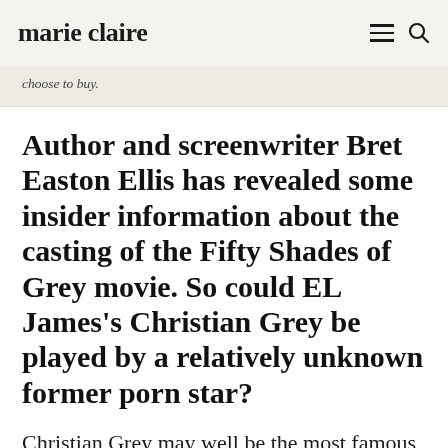marie claire
choose to buy.
Author and screenwriter Bret Easton Ellis has revealed some insider information about the casting of the Fifty Shades of Grey movie. So could EL James's Christian Grey be played by a relatively unknown former porn star?
Christian Grey may well be the most famous man never to have existed and it seems